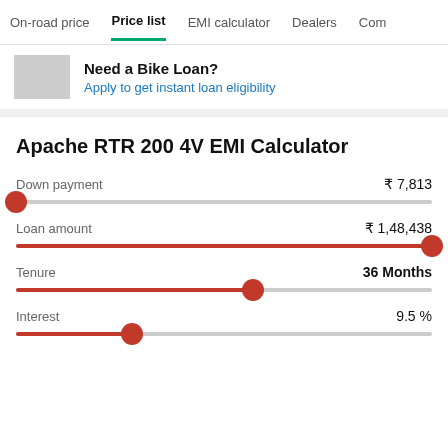On-road price | Price list | EMI calculator | Dealers | Comp
Need a Bike Loan?
Apply to get instant loan eligibility
Apache RTR 200 4V EMI Calculator
Down payment
₹ 7,813
Loan amount
₹ 1,48,438
Tenure
36 Months
Interest
9.5 %